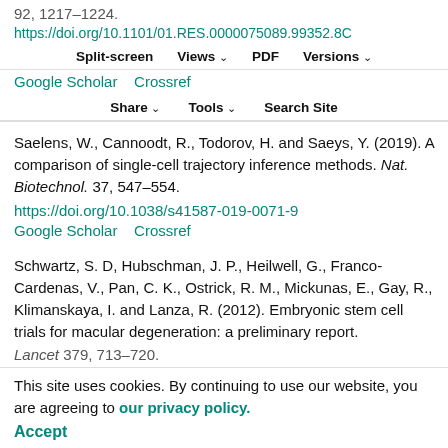92, 1217-1224. https://doi.org/10.1101/01.RES.0000075089.99352.8C
Split-screen  Views  PDF  Versions
Google Scholar   Crossref
Share  Tools  Search Site
Saelens, W., Cannoodt, R., Todorov, H. and Saeys, Y. (2019). A comparison of single-cell trajectory inference methods. Nat. Biotechnol. 37, 547-554. https://doi.org/10.1038/s41587-019-0071-9 Google Scholar   Crossref
Schwartz, S. D, Hubschman, J. P., Heilwell, G., Franco-Cardenas, V., Pan, C. K., Ostrick, R. M., Mickunas, E., Gay, R., Klimanskaya, I. and Lanza, R. (2012). Embryonic stem cell trials for macular degeneration: a preliminary report. Lancet 379, 713-720.
This site uses cookies. By continuing to use our website, you are agreeing to our privacy policy.
Accept
Schwartz, S. D., Regillo, C. D., Lam, B. L., Elliott, D.,